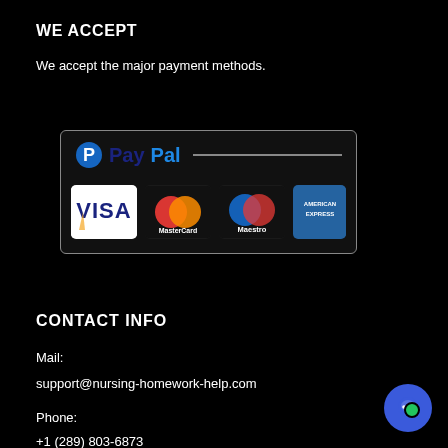WE ACCEPT
We accept the major payment methods.
[Figure (infographic): Payment methods box showing PayPal logo and card logos: VISA, MasterCard, Maestro, American Express]
CONTACT INFO
Mail:
support@nursing-homework-help.com
Phone:
+1 (289) 803-6873